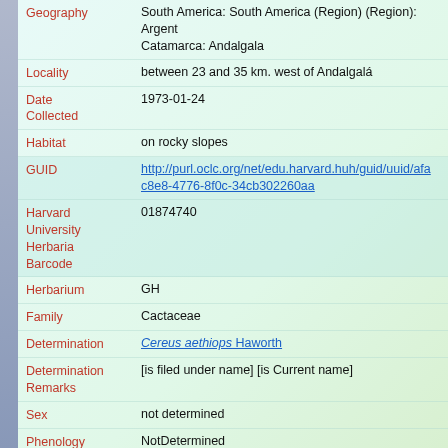| Field | Value |
| --- | --- |
| Geography | South America: South America (Region) (Region): Argent… Catamarca: Andalgala |
| Locality | between 23 and 35 km. west of Andalgalá |
| Date Collected | 1973-01-24 |
| Habitat | on rocky slopes |
| GUID | http://purl.oclc.org/net/edu.harvard.huh/guid/uuid/afa…c8e8-4776-8f0c-34cb302260aa |
| Harvard University Herbaria Barcode | 01874740 |
| Herbarium | GH |
| Family | Cactaceae |
| Determination | Cereus aethiops Haworth |
| Determination Remarks | [is filed under name] [is Current name] |
| Sex | not determined |
| Phenology | NotDetermined |
| Preparation Type | Sheet |
| Preparation Method | Pressed |